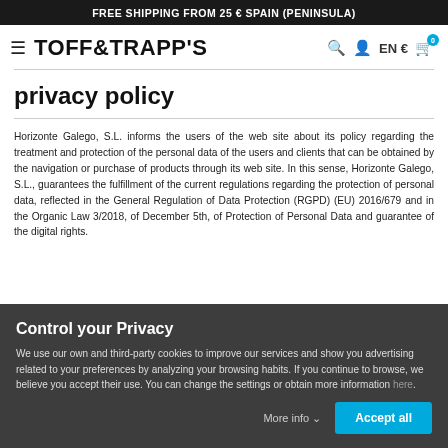FREE SHIPPING FROM 25 € SPAIN (PENINSULA)
TOFF&TRAPP'S
privacy policy
Horizonte Galego, S.L. informs the users of the web site about its policy regarding the treatment and protection of the personal data of the users and clients that can be obtained by the navigation or purchase of products through its web site. In this sense, Horizonte Galego, S.L., guarantees the fulfillment of the current regulations regarding the protection of personal data, reflected in the General Regulation of Data Protection (RGPD) (EU) 2016/679 and in the Organic Law 3/2018, of December 5th, of Protection of Personal Data and guarantee of the digital rights.
Control your Privacy
We use our own and third-party cookies to improve our services and show you advertising related to your preferences by analyzing your browsing habits. If you continue to browse, we believe you accept their use. You can change the settings or obtain more information here.